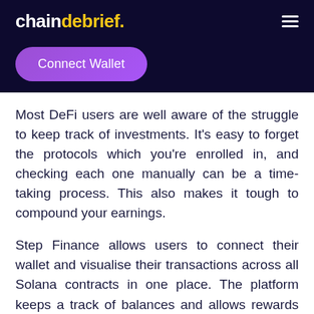chaindebrief.
[Figure (other): Connect Wallet button - purple rounded pill button]
Most DeFi users are well aware of the struggle to keep track of investments. It's easy to forget the protocols which you're enrolled in, and checking each one manually can be a time-taking process. This also makes it tough to compound your earnings.
Step Finance allows users to connect their wallet and visualise their transactions across all Solana contracts in one place. The platform keeps a track of balances and allows rewards to be easily claimed from a variety of protocols and yield farms.